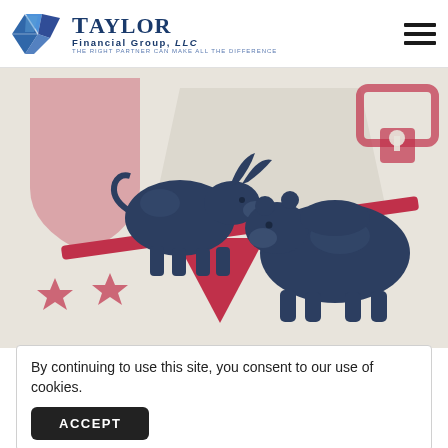Taylor Financial Group, LLC — The Right Partner Can Make All The Difference
[Figure (photo): Bull and bear figurines balancing on a red seesaw/balance beam, set against a beige background with red political/financial icons (stars, lock, shield) — symbolizing market balance between bull and bear markets]
By continuing to use this site, you consent to our use of cookies.